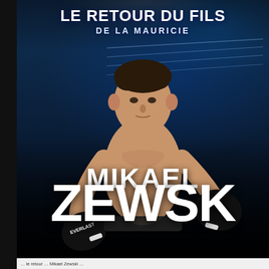LE RETOUR DU FILS DE LA MAURICIE
[Figure (photo): Boxing promotional poster featuring Mikael Zewski in fighting stance wearing black Everlast gloves, shirtless, against a dark arena/boxing ring background with blue lighting effects]
MIKAEL ZEWSKI
... le retour ... Mikael Zewski ...